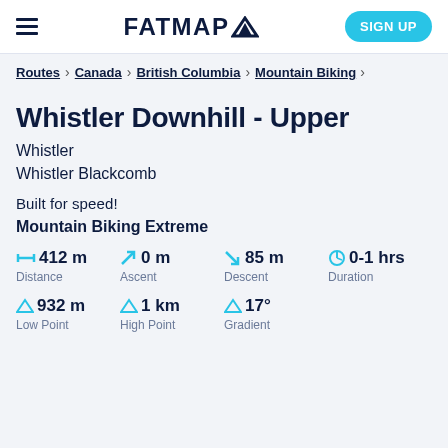FATMAP
Routes > Canada > British Columbia > Mountain Biking
Whistler Downhill - Upper
Whistler
Whistler Blackcomb
Built for speed!
Mountain Biking Extreme
| Distance | Ascent | Descent | Duration |
| --- | --- | --- | --- |
| 412 m | 0 m | 85 m | 0-1 hrs |
| Low Point | High Point | Gradient |
| --- | --- | --- |
| 932 m | 1 km | 17° |